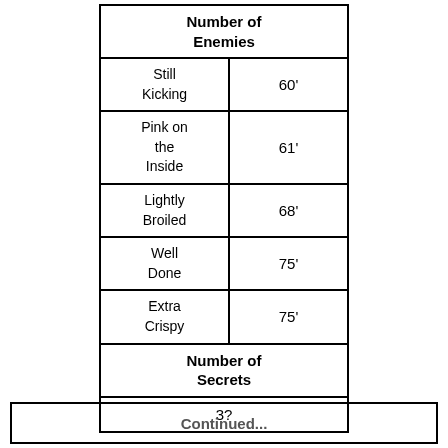| Number of Enemies |  |
| --- | --- |
| Still Kicking | 60' |
| Pink on the Inside | 61' |
| Lightly Broiled | 68' |
| Well Done | 75' |
| Extra Crispy | 75' |
| Number of Secrets |  |
| 3? |  |
Continued...